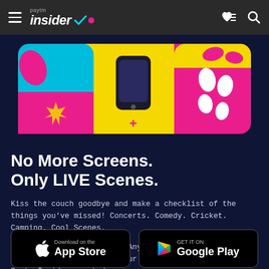Paytm insider
[Figure (illustration): Colorful promotional banner showing three illustrated panels with vibrant pink, blue, and yellow colors depicting lifestyle scenes related to events and outings]
No More Screens. Only LIVE Scenes.
Kiss the couch goodbye and make a checklist of the things you've missed! Concerts. Comedy. Cricket. Camping. Cool Scenes.
Set your destination to: 'Anywhere, but home.' Find experiences in & around your city - Step out with the Paytm Insider app today.
[Figure (screenshot): Download on the App Store button]
[Figure (screenshot): Get it on Google Play button]